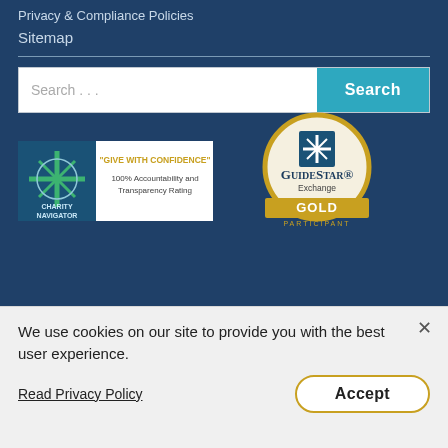Privacy & Compliance Policies
Sitemap
[Figure (screenshot): Search bar with text input 'Search ...' and a teal 'Search' button]
[Figure (logo): Charity Navigator badge: 'GIVE WITH CONFIDENCE' - 100% Accountability and Transparency Rating]
[Figure (logo): GuideStar Exchange Gold Participant badge]
We use cookies on our site to provide you with the best user experience.
Read Privacy Policy
Accept